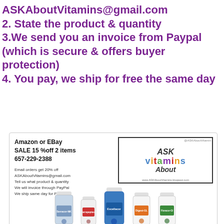ASKAboutVitamins@gmail.com
2. State the product & quantity
3.We send you an invoice from Paypal (which is secure & offers buyer protection)
4. You pay, we ship for free the same day
[Figure (infographic): Advertisement showing ASK Vitamins About logo, product bottles (Serracor-NK, Serrapeptase, Excellacor, Digest-GL, Floracor-GI), text about Amazon/eBay sale 15% off 2 items, phone 657-229-2388, and email order instructions]
[Figure (photo): Bottom portion showing a white supplement bottle cap/top visible at bottom of page]